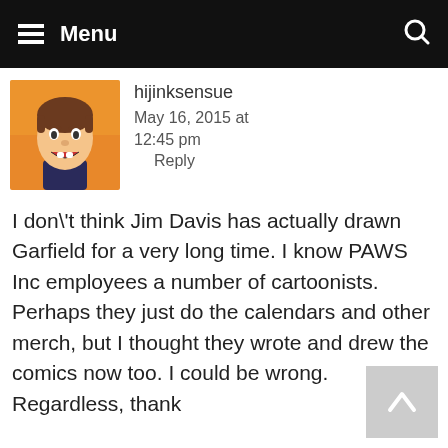Menu
hijinksensue
May 16, 2015 at 12:45 pm
    Reply
I don\'t think Jim Davis has actually drawn Garfield for a very long time. I know PAWS Inc employees a number of cartoonists. Perhaps they just do the calendars and other merch, but I thought they wrote and drew the comics now too. I could be wrong. Regardless, thank